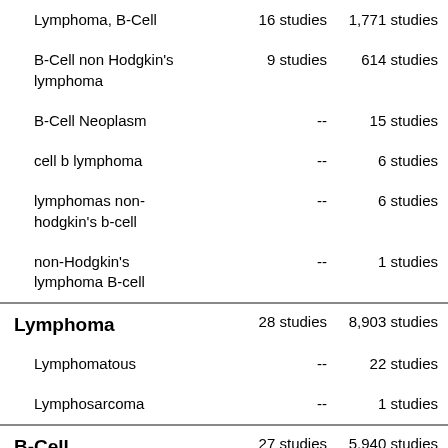| Condition | Studies (col1) | Studies (col2) |
| --- | --- | --- |
| Lymphoma, B-Cell | 16 studies | 1,771 studies |
| B-Cell non Hodgkin's lymphoma | 9 studies | 614 studies |
| B-Cell Neoplasm | -- | 15 studies |
| cell b lymphoma | -- | 6 studies |
| lymphomas non-hodgkin's b-cell | -- | 6 studies |
| non-Hodgkin's lymphoma B-cell | -- | 1 studies |
| Lymphoma | 28 studies | 8,903 studies |
| Lymphomatous | -- | 22 studies |
| Lymphosarcoma | -- | 1 studies |
| B-Cell | 27 studies | 5,940 studies |